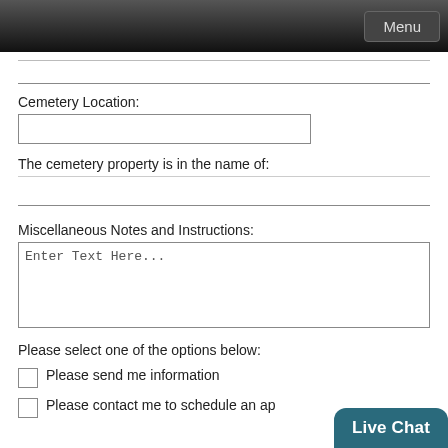Menu
Cemetery Location:
The cemetery property is in the name of:
Miscellaneous Notes and Instructions:
Enter Text Here...
Please select one of the options below:
Please send me information
Please contact me to schedule an ap